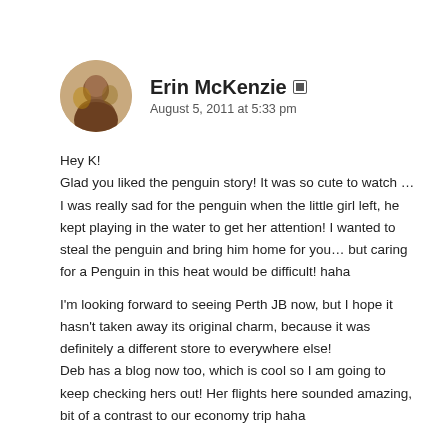[Figure (photo): Circular avatar photo of Erin McKenzie]
Erin McKenzie [icon] August 5, 2011 at 5:33 pm
Hey K!
Glad you liked the penguin story! It was so cute to watch … I was really sad for the penguin when the little girl left, he kept playing in the water to get her attention! I wanted to steal the penguin and bring him home for you… but caring for a Penguin in this heat would be difficult! haha

I'm looking forward to seeing Perth JB now, but I hope it hasn't taken away its original charm, because it was definitely a different store to everywhere else!
Deb has a blog now too, which is cool so I am going to keep checking hers out! Her flights here sounded amazing, bit of a contrast to our economy trip haha